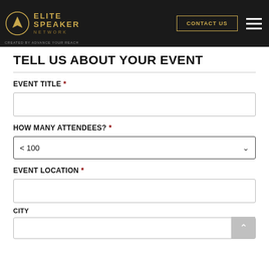[Figure (logo): Elite Speaker Network logo with gold circular emblem and text on dark background]
TELL US ABOUT YOUR EVENT
EVENT TITLE *
HOW MANY ATTENDEES? *
< 100
EVENT LOCATION *
CITY